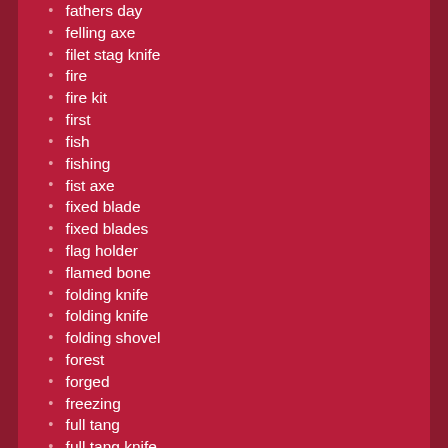fathers day
felling axe
filet stag knife
fire
fire kit
first
fish
fishing
fist axe
fixed blade
fixed blades
flag holder
flamed bone
folding knife
folding knife
folding shovel
forest
forged
freezing
full tang
full tang knife
fulltang knife
functional art
gaucho knife
geodesic dome
giant